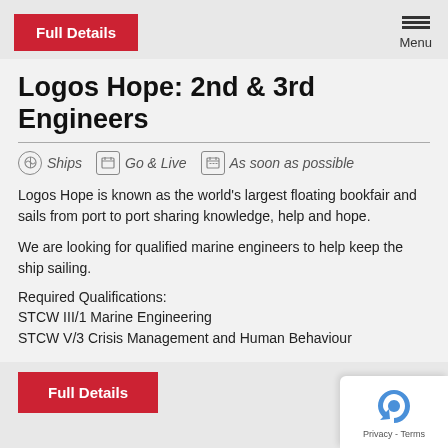Full Details
Logos Hope: 2nd & 3rd Engineers
Ships   Go & Live   As soon as possible
Logos Hope is known as the world's largest floating bookfair and sails from port to port sharing knowledge, help and hope.
We are looking for qualified marine engineers to help keep the ship sailing.
Required Qualifications:
STCW III/1 Marine Engineering
STCW V/3 Crisis Management and Human Behaviour
Full Details